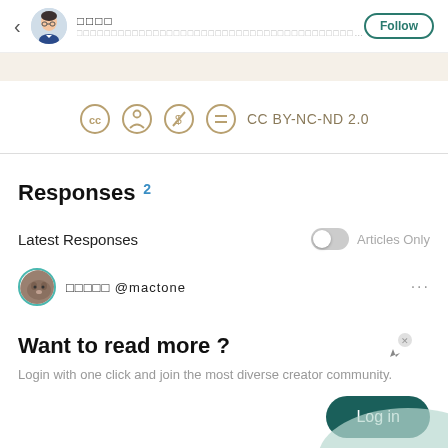□□□□ @mactone Follow
[Figure (other): CC BY-NC-ND 2.0 license icons]
Responses 2
Latest Responses    Articles Only
□□□□□ @mactone
Want to read more ?
Login with one click and join the most diverse creator community.
Log in